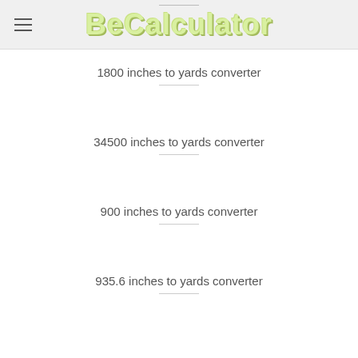BeCalculator
1800 inches to yards converter
34500 inches to yards converter
900 inches to yards converter
935.6 inches to yards converter